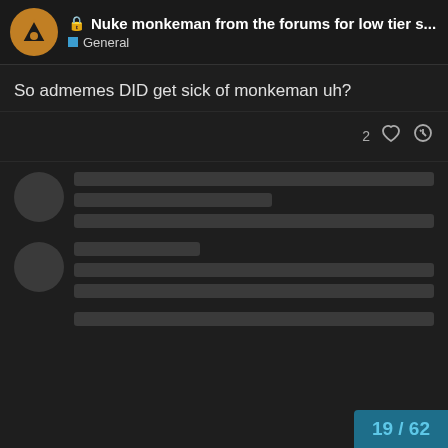Nuke monkeman from the forums for low tier s... — General
So admemes DID get sick of monkeman uh?
[Figure (screenshot): Blurred/redacted forum posts showing two post cards with avatar circles and placeholder content lines, and a page navigation badge showing 19 / 62]